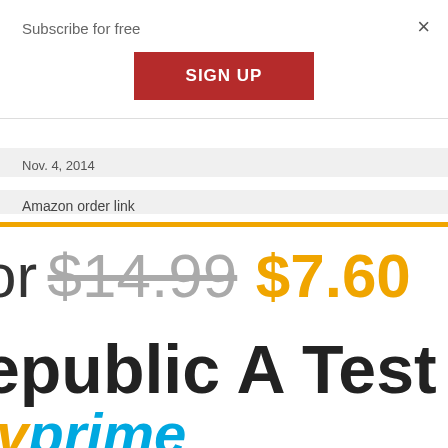Subscribe for free
SIGN UP
×
Nov. 4, 2014
Amazon order link
or $14.99 $7.60
epublic A Test of
prime